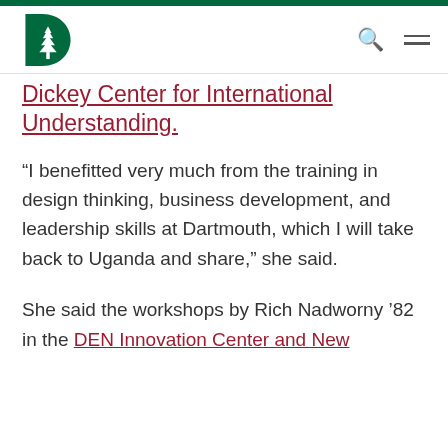Dartmouth logo, search icon, hamburger menu
Dickey Center for International Understanding.
“I benefitted very much from the training in design thinking, business development, and leadership skills at Dartmouth, which I will take back to Uganda and share,” she said.
She said the workshops by Rich Nadworny ’82 in the DEN Innovation Center and New